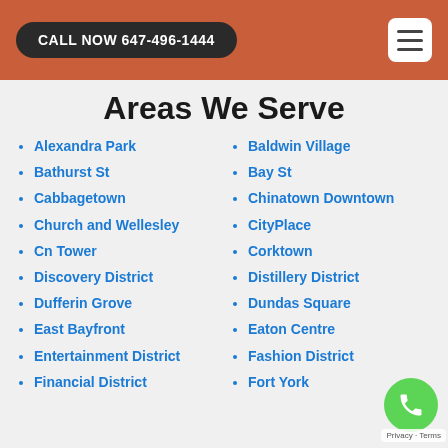CALL NOW 647-496-1444
Areas We Serve
Alexandra Park
Baldwin Village
Bathurst St
Bay St
Cabbagetown
Chinatown Downtown
Church and Wellesley
CityPlace
Cn Tower
Corktown
Discovery District
Distillery District
Dufferin Grove
Dundas Square
East Bayfront
Eaton Centre
Entertainment District
Fashion District
Financial District
Fort York